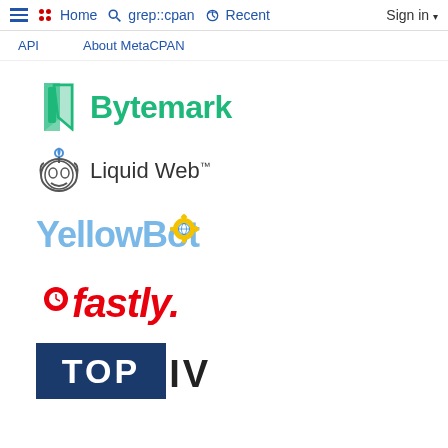≡ •• Home  🔍 grep::cpan  🕐 Recent  Sign in ▾
API   About MetaCPAN
[Figure (logo): Bytemark logo — green book/bookmark icon with 'Bytemark' text in green]
[Figure (logo): Liquid Web logo — robot/alien face icon with 'Liquid Web™' text in dark gray]
[Figure (logo): YellowBot logo — stylized text 'YellowBot' in light blue with yellow gear/bot icon]
[Figure (logo): Fastly logo — 'fastly.' in bold italic red]
[Figure (logo): Deriv logo — orange/red double-chevron arrow followed by 'DERIV' in bold black uppercase]
[Figure (logo): Partial logo — dark blue rectangle with 'TOP' in white bold text, partially cut off at bottom]